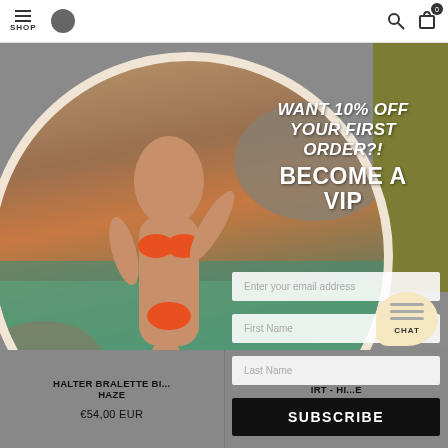SHOP
[Figure (photo): Model wearing orange striped bikini standing near rocks and water — background of e-commerce website with olive/khaki colored panel on right]
WANT 10% OFF YOUR FIRST ORDER?! BECOME A VIP
Enter your email address
First Name
Last Name
SUBSCRIBE
HALTER BRALETTE BI... HAZE
€54,00 EUR
IRT - HI... E
€68,00 EUR
CHAT